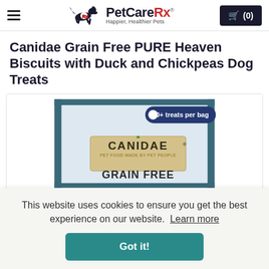PetCareRx — Happier, Healthier Pets
Canidae Grain Free PURE Heaven Biscuits with Duck and Chickpeas Dog Treats
[Figure (photo): Product image of Canidae Grain Free pet food bag with teal border, labeled '30+ treats per bag'. The bag shows the CANIDAE logo with 'PET FOOD MADE BY PET PEOPLE' tagline and 'GRAIN FREE' text on a light blue/silver background.]
This website uses cookies to ensure you get the best experience on our website.  Learn more
Got it!